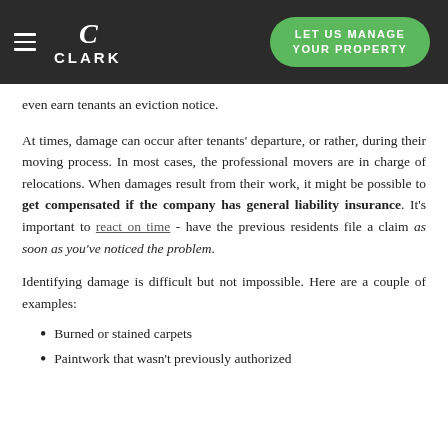CLARK | LET US MANAGE YOUR PROPERTY
even earn tenants an eviction notice.
At times, damage can occur after tenants' departure, or rather, during their moving process. In most cases, the professional movers are in charge of relocations. When damages result from their work, it might be possible to get compensated if the company has general liability insurance. It's important to react on time - have the previous residents file a claim as soon as you've noticed the problem.
Identifying damage is difficult but not impossible. Here are a couple of examples:
Burned or stained carpets
Paintwork that wasn't previously authorized